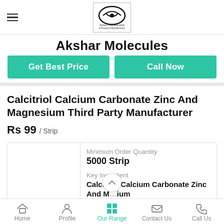[Figure (logo): Akshar Molecules company logo with circular design and text]
Akshar Molecules
Get Best Price
Call Now
Calcitriol Calcium Carbonate Zinc And Magnesium Third Party Manufacturer
Rs 99 / Strip
Minimum Order Quantity
5000 Strip
Key Ingredient
Calcitriol Calcium Carbonate Zinc And Magnesium
Home  Profile  Our Range  Contact Us  Call Us